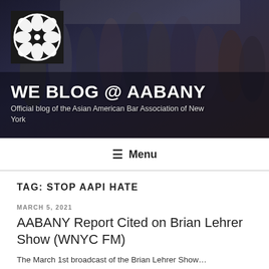[Figure (photo): Group photo of AABANY members at a formal event/gala, in formal attire, in front of sponsor backdrop. AABANY flower logo overlaid at top-left.]
WE BLOG @ AABANY
Official blog of the Asian American Bar Association of New York
≡ Menu
TAG: STOP AAPI HATE
MARCH 5, 2021
AABANY Report Cited on Brian Lehrer Show (WNYC FM)
The March 1st broadcast of the Brian Lehrer Show…